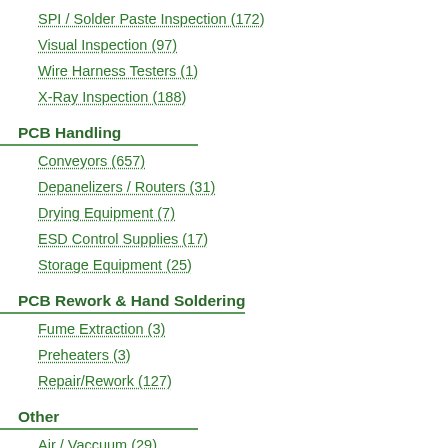SPI / Solder Paste Inspection (172)
Visual Inspection (97)
Wire Harness Testers (1)
X-Ray Inspection (188)
PCB Handling
Conveyors (657)
Depanelizers / Routers (31)
Drying Equipment (7)
ESD Control Supplies (17)
Storage Equipment (25)
PCB Rework & Hand Soldering
Fume Extraction (3)
Preheaters (3)
Repair/Rework (127)
Other
Air / Vaccuum (29)
CAD/CAM Systems & Software (4)
General Purpose Equipment (279)